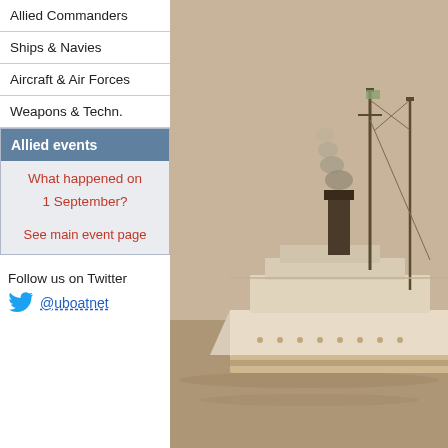Allied Commanders
Ships & Navies
Aircraft & Air Forces
Weapons & Techn.
Allied events
What happened on 1 September?
See main event page
Follow us on Twitter
@uboatnet
[Figure (photo): Sepia photograph of a steamship at sea, with a tall smokestack emitting smoke and masts with rigging visible. The ship appears to be a passenger or cargo vessel from the early 20th century, photographed from the side.]